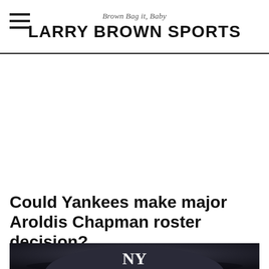Brown Bag it, Baby — LARRY BROWN SPORTS
Could Yankees make major Aroldis Chapman roster decision?
[Figure (photo): Black and white photo of a New York Yankees cap with the NY logo visible, on a dark background]